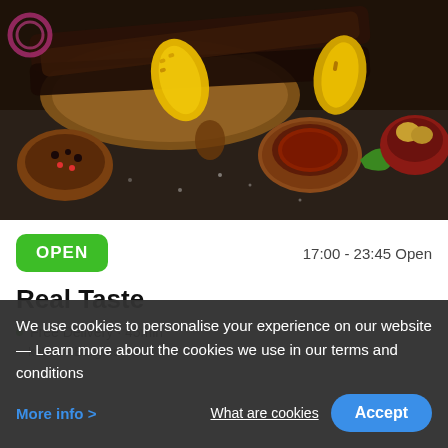[Figure (photo): Food photo showing grilled meat skewers, corn on the cob, a bowl of dipping sauce, vegetables, and other grilled items on a dark background]
OPEN
17:00 - 23:45 Open
Real Taste
Free Delivery · 45min
kebab · Burgers · Grill
We use cookies to personalise your experience on our website — Learn more about the cookies we use in our terms and conditions
More info >
What are cookies
Accept